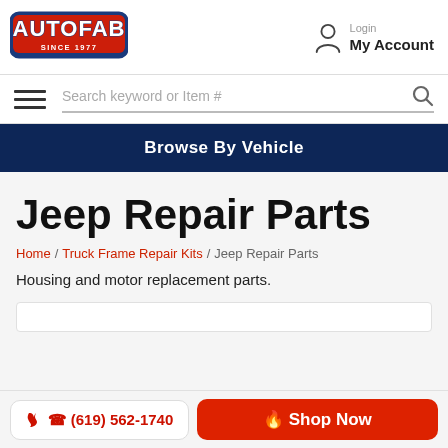[Figure (logo): AutoFab Since 1977 logo with red and blue lettering]
Login
My Account
Search keyword or Item #
Browse By Vehicle
Jeep Repair Parts
Home / Truck Frame Repair Kits / Jeep Repair Parts
Housing and motor replacement parts.
(619) 562-1740
Shop Now